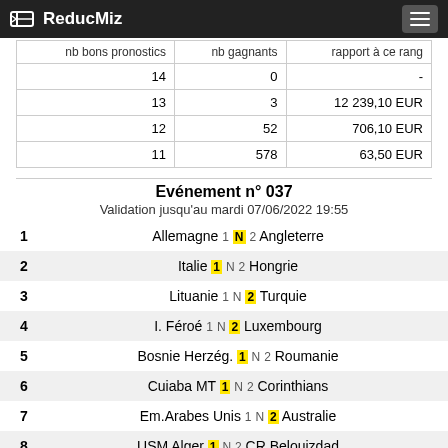ReducMiz
| nb bons pronostics | nb gagnants | rapport à ce rang |
| --- | --- | --- |
| 14 | 0 | - |
| 13 | 3 | 12 239,10 EUR |
| 12 | 52 | 706,10 EUR |
| 11 | 578 | 63,50 EUR |
Evénement n° 037
Validation jusqu'au mardi 07/06/2022 19:55
1 Allemagne 1 N 2 Angleterre
2 Italie 1 N 2 Hongrie
3 Lituanie 1 N 2 Turquie
4 I. Féroé 1 N 2 Luxembourg
5 Bosnie Herzég. 1 N 2 Roumanie
6 Cuiaba MT 1 N 2 Corinthians
7 Em.Arabes Unis 1 N 2 Australie
8 USM Alger 1 N 2 CR Belouizdad
9 Shanghai Shen 1 N 2 Shanghai SIPG